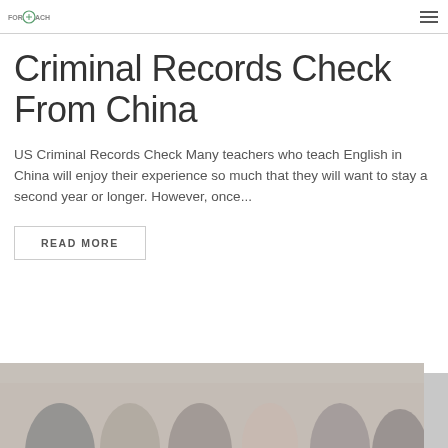FORTEACH
Criminal Records Check From China
US Criminal Records Check Many teachers who teach English in China will enjoy their experience so much that they will want to stay a second year or longer. However, once...
READ MORE
[Figure (photo): Group of people in a classroom or meeting setting, partially visible at the bottom of the page]